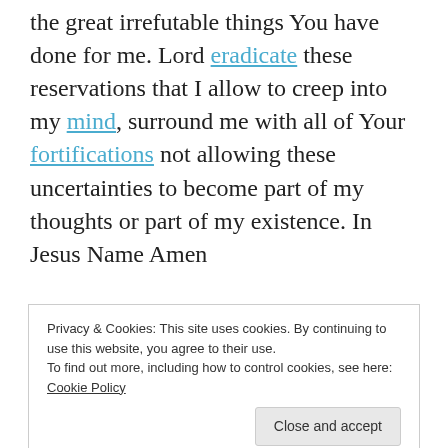the great irrefutable things You have done for me. Lord eradicate these reservations that I allow to creep into my mind, surround me with all of Your fortifications not allowing these uncertainties to become part of my thoughts or part of my existence. In Jesus Name Amen
Have you ever had those moments, even weeks, where all you want to do is scream at God and say why; why are you doing this to me. I think if we are
Privacy & Cookies: This site uses cookies. By continuing to use this website, you agree to their use.
To find out more, including how to control cookies, see here: Cookie Policy
Close and accept
there is so much for us to be start counting all of